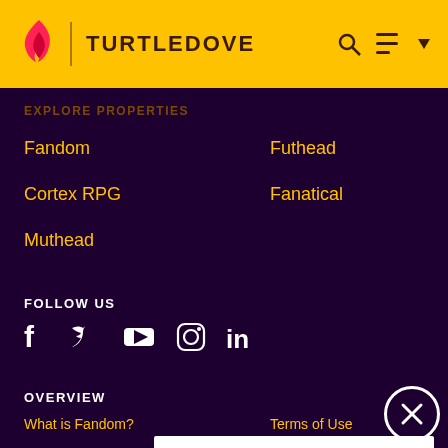TURTLEDOVE
EXPLORE PROPERTIES
Fandom
Futhead
Cortex RPG
Fanatical
Muthead
FOLLOW US
OVERVIEW
What is Fandom?
Terms of Use
About
Careers
Global Sitemap